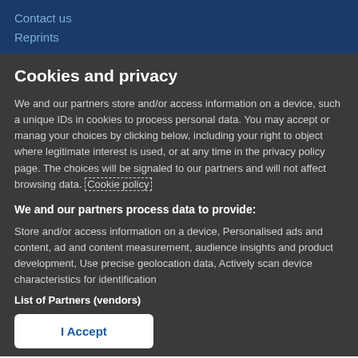Contact us
Reprints
Cookies and privacy
We and our partners store and/or access information on a device, such as unique IDs in cookies to process personal data. You may accept or manage your choices by clicking below, including your right to object where legitimate interest is used, or at any time in the privacy policy page. These choices will be signaled to our partners and will not affect browsing data. Cookie policy
We and our partners process data to provide:
Store and/or access information on a device, Personalised ads and content, ad and content measurement, audience insights and product development, Use precise geolocation data, Actively scan device characteristics for identification
List of Partners (vendors)
I Accept